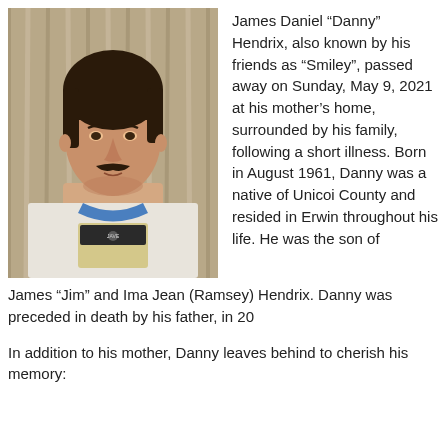[Figure (photo): Black and white / vintage color photograph of a young man with dark hair and a mustache, wearing a blue-collared white shirt with a logo on it, seated in front of a curtain background.]
James Daniel “Danny” Hendrix, also known by his friends as “Smiley”, passed away on Sunday, May 9, 2021 at his mother’s home, surrounded by his family, following a short illness.  Born in August 1961, Danny was a native of Unicoi County and resided in Erwin throughout his life.  He was the son of James “Jim” and Ima Jean (Ramsey) Hendrix.  Danny was preceded in death by his father, in 20
In addition to his mother, Danny leaves behind to cherish his memory: